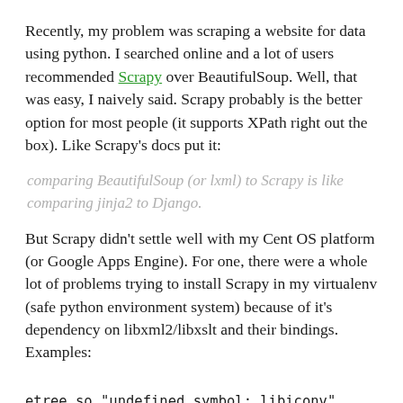Recently, my problem was scraping a website for data using python. I searched online and a lot of users recommended Scrapy over BeautifulSoup. Well, that was easy, I naively said. Scrapy probably is the better option for most people (it supports XPath right out the box). Like Scrapy's docs put it:
comparing BeautifulSoup (or lxml) to Scrapy is like comparing jinja2 to Django.
But Scrapy didn't settle well with my Cent OS platform (or Google Apps Engine). For one, there were a whole lot of problems trying to install Scrapy in my virtualenv (safe python environment system) because of it's dependency on libxml2/libxslt and their bindings. Examples:
etree.so "undefined symbol: libiconv"
Version 2.6.26 found. You need at least libxml2